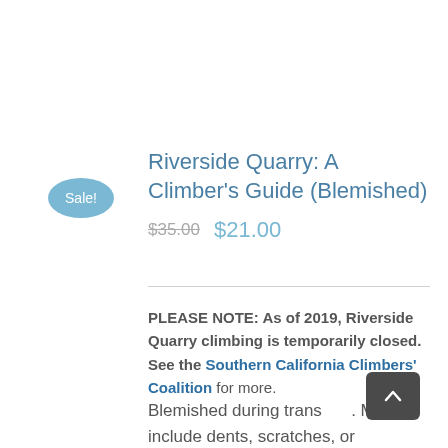Riverside Quarry: A Climber's Guide (Blemished)
$35.00  $21.00
PLEASE NOTE: As of 2019, Riverside Quarry climbing is temporarily closed. See the Southern California Climbers' Coalition for more.
Blemished during transport. May include dents, scratches, or